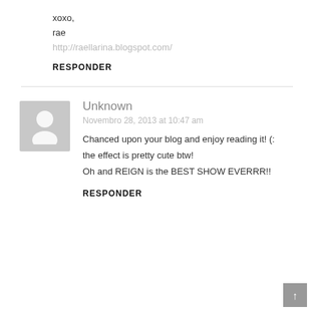xoxo,
rae
http://raellarina.blogspot.com/
RESPONDER
Unknown
Novembro 28, 2013 at 10:47 am
Chanced upon your blog and enjoy reading it! (:
the effect is pretty cute btw!
Oh and REIGN is the BEST SHOW EVERRR!!
RESPONDER